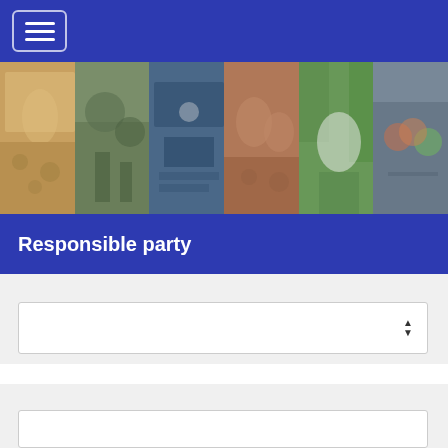[Figure (photo): A horizontal strip of six photos showing various youth/student activities: sports in a gymnasium, outdoor activities, a conference or seminar setting, students at a table discussion, a woman in traditional Mexican dress with a flag, and students in sports jerseys in a circle.]
Responsible party
[Figure (other): A dropdown/select input box with an expand/collapse arrow icon on the right side]
[Figure (other): A second dropdown/select input box at the bottom of the page]